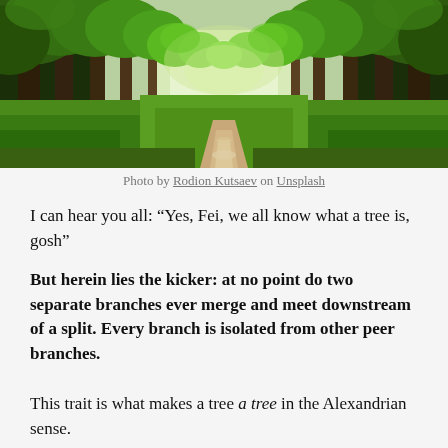[Figure (photo): A tree-lined path through a lush green forest, with tall trees on both sides creating a canopy overhead. A dirt path winds between grassy ground in the middle of the image.]
Photo by Rodion Kutsaev on Unsplash
I can hear you all: “Yes, Fei, we all know what a tree is, gosh”
But herein lies the kicker: at no point do two separate branches ever merge and meet downstream of a split. Every branch is isolated from other peer branches.
This trait is what makes a tree a tree in the Alexandrian sense.